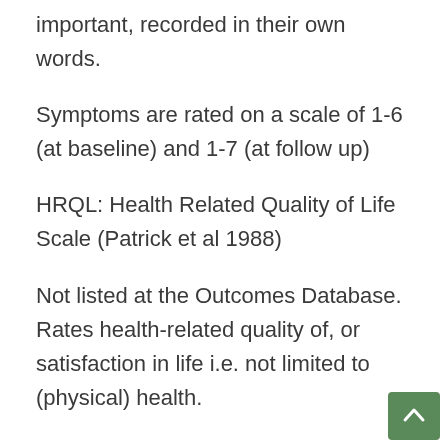important, recorded in their own words.
Symptoms are rated on a scale of 1-6 (at baseline) and 1-7 (at follow up)
HRQL: Health Related Quality of Life Scale (Patrick et al 1988)
Not listed at the Outcomes Database. Rates health-related quality of, or satisfaction in life i.e. not limited to (physical) health.